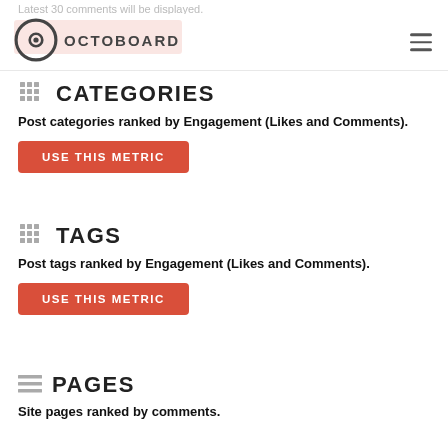Latest 30 comments will be displayed.
[Figure (logo): Octoboard logo with circular icon and text OCTOBOARD]
CATEGORIES
Post categories ranked by Engagement (Likes and Comments).
USE THIS METRIC
TAGS
Post tags ranked by Engagement (Likes and Comments).
USE THIS METRIC
PAGES
Site pages ranked by comments.